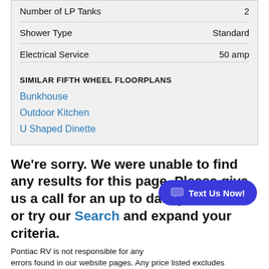| Spec | Value |
| --- | --- |
| Number of LP Tanks | 2 |
| Shower Type | Standard |
| Electrical Service | 50 amp |
SIMILAR FIFTH WHEEL FLOORPLANS
Bunkhouse
Outdoor Kitchen
U Shaped Dinette
We're sorry. We were unable to find any results for this page. Please give us a call for an up to date product list or try our Search and expand your criteria.
Pontiac RV is not responsible for any errors found in our website pages. Any price listed excludes